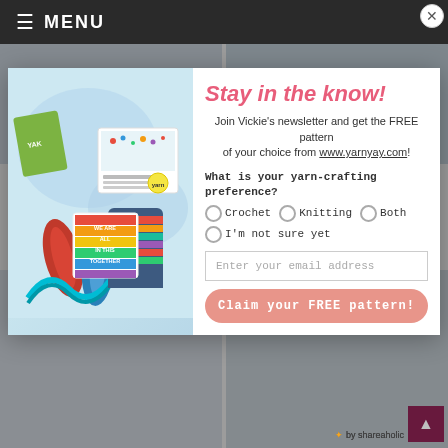MENU
Two Methods (Tutorial with Video)
Stitches VIDEO Tutorial with Vickie Howell
[Figure (photo): Newsletter popup modal with yarn and knitting supplies photo on left, and signup form on right with title 'Stay in the know!']
Stay in the know!
Join Vickie's newsletter and get the FREE pattern of your choice from www.yarnyay.com!
What is your yarn-crafting preference?
Crochet
Knitting
Both
I'm not sure yet
Enter your email address
Claim your FREE pattern!
Chain Stitch Coasters | Video and Written Tutorial with Vickie Howell
Two Color Brioche in the Round Video with Vickie Howell
by shareaholic